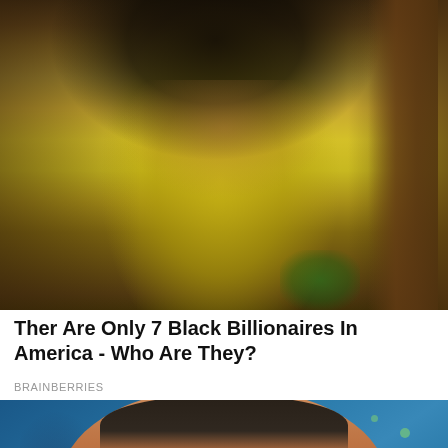[Figure (photo): Photo of a woman in a yellow long-sleeve top with curly hair, arms raised, appearing to be on a stage or set with wooden background elements visible]
Ther Are Only 7 Black Billionaires In America - Who Are They?
BRAINBERRIES
[Figure (photo): Close-up photo of a man with dark hair and beard wearing a colorful striped blazer, against a blue background with geometric shapes and green star/sparkle decorations]